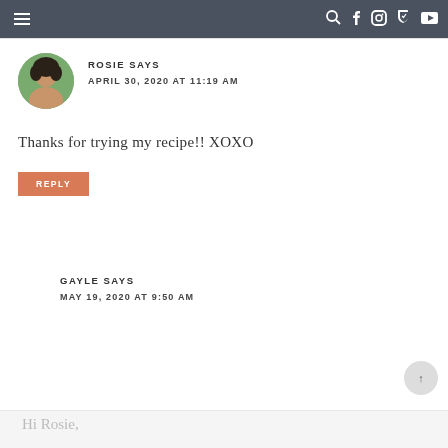≡  🔍 f 📷 𝐩 ▶
ROSIE SAYS
APRIL 30, 2020 AT 11:19 AM
Thanks for trying my recipe!! XOXO
REPLY
GAYLE SAYS
MAY 19, 2020 AT 9:50 AM
Hi Rosie,